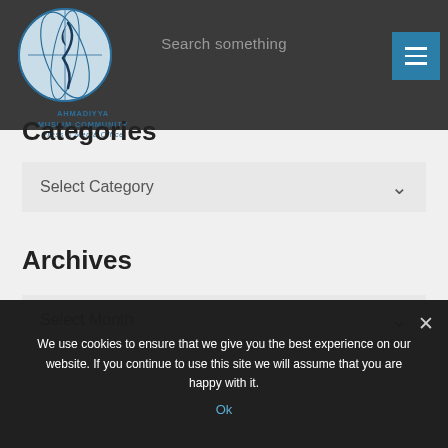Search something [menu button]
[Figure (logo): Ahmadiyya Muslim Community Press & Media Office circular globe logo with feather]
Categories
Select Category
Archives
Select Month
We use cookies to ensure that we give you the best experience on our website. If you continue to use this site we will assume that you are happy with it.
Ok